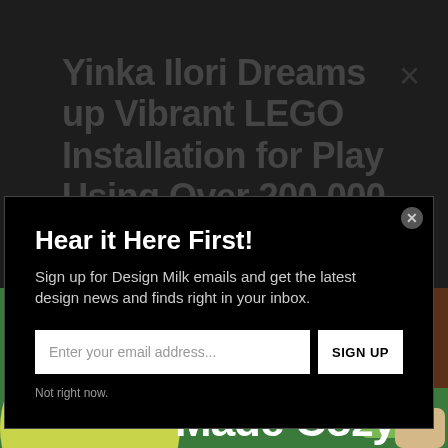Yinka Ilori Dreams up Vibrant LEGO Installation for Play Using Over 200,000 Bricks
Hear it Here First!
Sign up for Design Milk emails and get the latest design news and finds right in your inbox.
[Figure (screenshot): Email signup form with text input field placeholder 'Enter your email address...' and a SIGN UP button]
Not right now.
[Figure (photo): Bottom portion showing colorful LEGO installation with green and orange panels, a person visible, and 'Made Cozy' text overlay with decorative pillows]